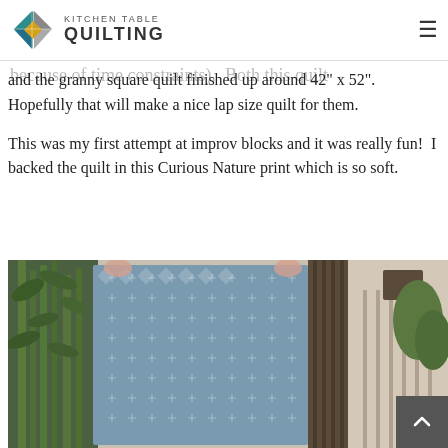Kitchen Table Quilting
the quilt. I didn't want to make them small like a baby quilt but didn't want to make a giant quilt either (mostly because of time constraints). Both this quilt and the granny square quilt finished up around 42" x 52". Hopefully that will make a nice lap size quilt for them.
This was my first attempt at improv blocks and it was really fun! I backed the quilt in this Curious Nature print which is so soft.
[Figure (photo): Person holding up a blue geometric patterned quilt outdoors with bamboo plants and wooden fence in background]